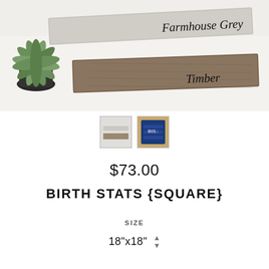[Figure (photo): Product photo showing two wooden boards on a white fur rug with a succulent plant. Labels on the boards read 'Farmhouse Grey' and 'Timber' in handwritten script.]
[Figure (photo): Thumbnail 1: Wood slat product in grey/white tones]
[Figure (photo): Thumbnail 2: Blue square letterboard with wooden frame]
$73.00
BIRTH STATS {SQUARE}
SIZE
18"x18"